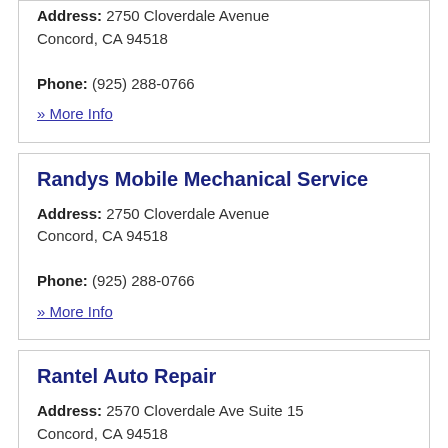Address: 2750 Cloverdale Avenue Concord, CA 94518
Phone: (925) 288-0766
» More Info
Randys Mobile Mechanical Service
Address: 2750 Cloverdale Avenue Concord, CA 94518
Phone: (925) 288-0766
» More Info
Rantel Auto Repair
Address: 2570 Cloverdale Ave Suite 15 Concord, CA 94518